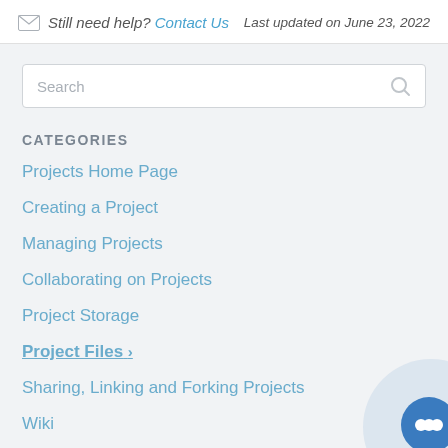Still need help? Contact Us
Last updated on June 23, 2022
CATEGORIES
Projects Home Page
Creating a Project
Managing Projects
Collaborating on Projects
Project Storage
Project Files >
Sharing, Linking and Forking Projects
Wiki